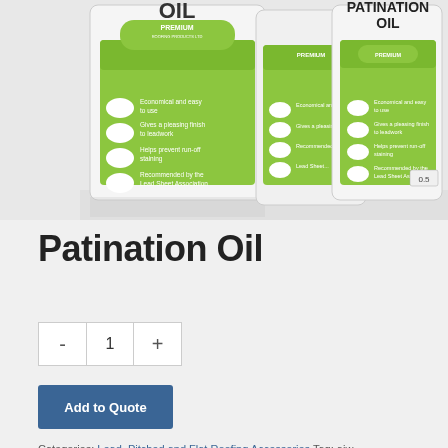[Figure (photo): Three white containers/canisters of Premium Patination Oil with green labels on a white/light background. The containers vary in size, the largest on the left showing bullet points including 'Economical and easy to use', 'Gives a pleasing finish to leadwork', 'Helps prevent run-off staining', 'Recommended by the Lead Sheet Association'. The rightmost container shows '0.5' on its label. The heading PATINATION OIL appears on the rightmost large container.]
Patination Oil
- 1 +
Add to Quote
Categories: Lead, Pitched and Flat Roofing Accessories Tag: ajw